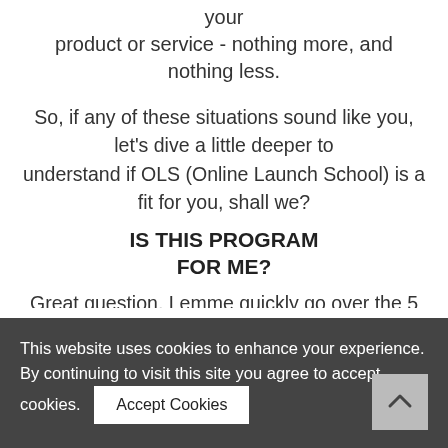your product or service - nothing more, and nothing less.
So, if any of these situations sound like you, let's dive a little deeper to understand if OLS (Online Launch School) is a fit for you, shall we?
IS THIS PROGRAM FOR ME?
Great question. Lemme quickly go over the 5 types of people Online Launch School IS for so you can figure out if it's a fit...
YOU DON'T EVEN KNOW WHAT A LAUNCH IS.
This website uses cookies to enhance your experience. By continuing to visit this site you agree to accept cookies.